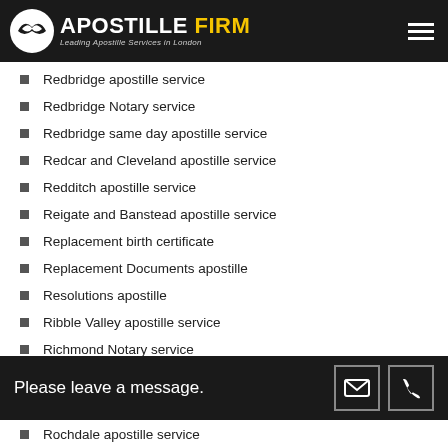APOSTILLE FIRM — Leading Apostille Services in London
Redbridge apostille service
Redbridge Notary service
Redbridge same day apostille service
Redcar and Cleveland apostille service
Redditch apostille service
Reigate and Banstead apostille service
Replacement birth certificate
Replacement Documents apostille
Resolutions apostille
Ribble Valley apostille service
Richmond Notary service
Richmond upon Thames apostille service
Richmond upon Thames Notary service
Please leave a message.
Rochdale apostille service